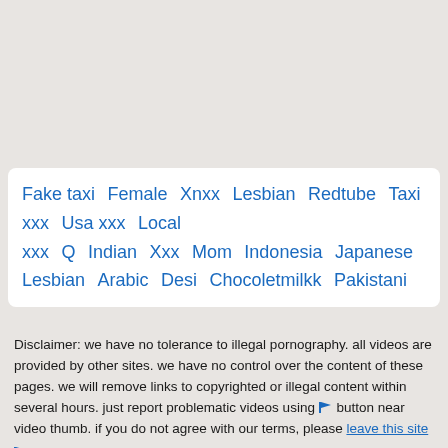Fake taxi  Female  Xnxx  Lesbian  Redtube  Taxi xxx  Usa xxx  Local  xxx  Q  Indian  Xxx  Mom  Indonesia  Japanese  Lesbian  Arabic  Desi  Chocoletmilkk  Pakistani
Disclaimer: we have no tolerance to illegal pornography. all videos are provided by other sites. we have no control over the content of these pages. we will remove links to copyrighted or illegal content within several hours. just report problematic videos using [flag] button near video thumb. if you do not agree with our terms, please leave this site
Remove content  © faketaxi.top 2022